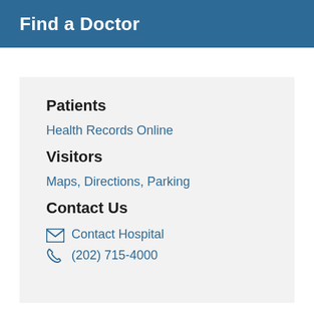Find a Doctor
Patients
Health Records Online
Visitors
Maps, Directions, Parking
Contact Us
Contact Hospital
(202) 715-4000